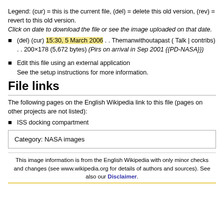Legend: (cur) = this is the current file, (del) = delete this old version, (rev) = revert to this old version.
Click on date to download the file or see the image uploaded on that date.
(del) (cur) 15:30, 5 March 2006 . . Themanwithoutapast ( Talk | contribs) . . 200×178 (5,672 bytes) (Pirs on arrival in Sep 2001 {{PD-NASA}})
Edit this file using an external application
See the setup instructions for more information.
File links
The following pages on the English Wikipedia link to this file (pages on other projects are not listed):
ISS docking compartment
| Category: NASA images |
This image information is from the English Wikipedia with only minor checks and changes (see www.wikipedia.org for details of authors and sources). See also our Disclaimer.